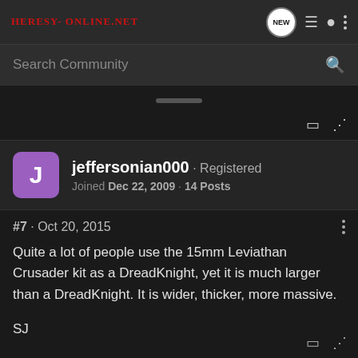Heresy-Online.net
Search Community
jeffersonian000 · Registered
Joined Dec 22, 2009 · 14 Posts
#7 · Oct 20, 2015
Quite a lot of people use the 15mm Leviathan Crusader kit as a DreadKnight, yet it is much larger than a DreadKnight. It is wider, thicker, more massive.

SJ